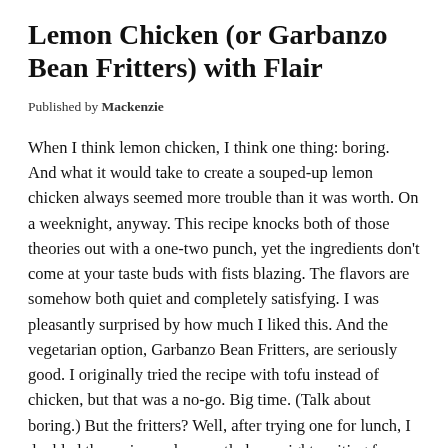Lemon Chicken (or Garbanzo Bean Fritters) with Flair
Published by Mackenzie
When I think lemon chicken, I think one thing: boring. And what it would take to create a souped-up lemon chicken always seemed more trouble than it was worth. On a weeknight, anyway. This recipe knocks both of those theories out with a one-two punch, yet the ingredients don't come at your taste buds with fists blazing. The flavors are somehow both quiet and completely satisfying. I was pleasantly surprised by how much I liked this. And the vegetarian option, Garbanzo Bean Fritters, are seriously good. I originally tried the recipe with tofu instead of chicken, but that was a no-go. Big time. (Talk about boring.) But the fritters? Well, after trying one for lunch, I doubled the recipe and currently have eight waiting for me in my freezer right now. Yum, yum! Oh, and there aren't any